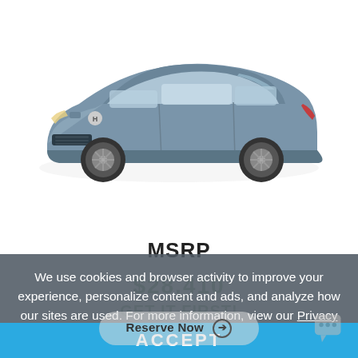[Figure (photo): Honda CR-V SUV in silver-blue color, shown from a front three-quarter angle on a white background]
MSRP
We use cookies and browser activity to improve your experience, personalize content and ads, and analyze how our sites are used. For more information, view our Privacy Policy.
Reserve Now →
ACCEPT